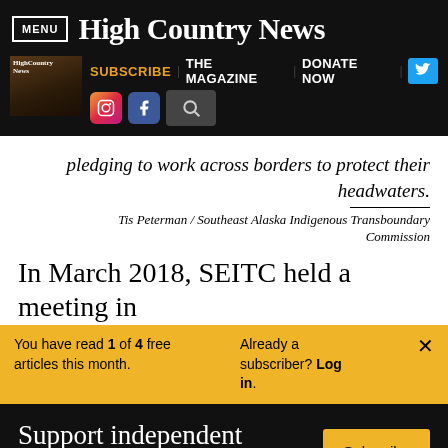MENU | High Country News
SUBSCRIBE | THE MAGAZINE | DONATE NOW
pledging to work across borders to protect their headwaters.
Tis Peterman / Southeast Alaska Indigenous Transboundary Commission
In March 2018, SEITC held a meeting in
You have read 1 of 4 free articles this month. Already a subscriber? Log in.
Support independent journalism. Subscribe